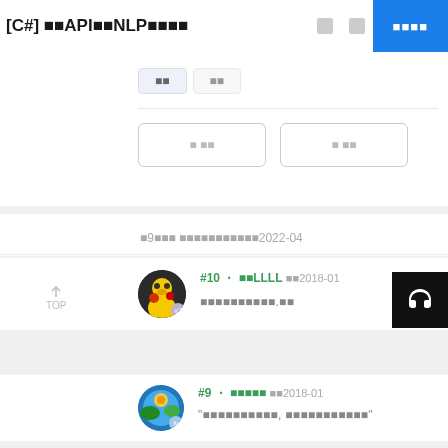[C#] ■■API■■NLP■■■■
■■ ■■
■ ■■ ■ ■■
■9■■■ ■■■■■■■■■■■2022-04
#10 ・ ■■LLLL ■■2018-01
■■■■■■■■■■.■■
#9 ・ ■■■■■ ■■2018-01